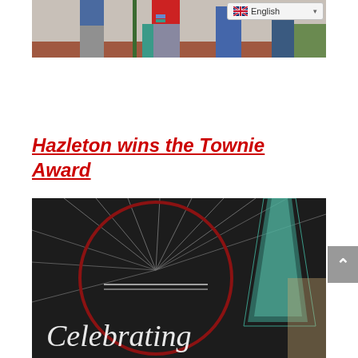[Figure (photo): Partial photo showing lower bodies of several people standing together outdoors, with a language selector (English) in the top right corner]
Hazleton wins the Townie Award
[Figure (photo): Close-up photo of an event backdrop with dark background, a red circular design with radiating lines, and a glass award trophy. Text on backdrop reads 'Celebrating']